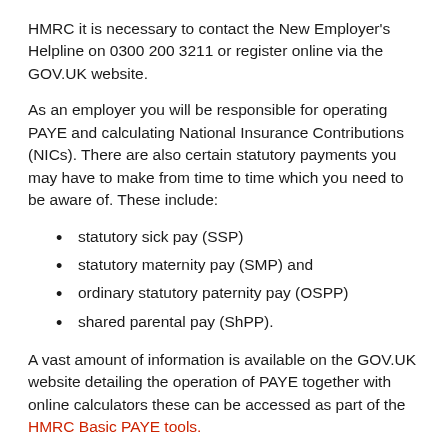HMRC it is necessary to contact the New Employer's Helpline on 0300 200 3211 or register online via the GOV.UK website.
As an employer you will be responsible for operating PAYE and calculating National Insurance Contributions (NICs). There are also certain statutory payments you may have to make from time to time which you need to be aware of. These include:
statutory sick pay (SSP)
statutory maternity pay (SMP) and
ordinary statutory paternity pay (OSPP)
shared parental pay (ShPP).
A vast amount of information is available on the GOV.UK website detailing the operation of PAYE together with online calculators these can be accessed as part of the HMRC Basic PAYE tools.
If requested HMRC will send you several booklets and tables to enable you to make the relevant deductions and payments to your employees. However the majority of employers use the